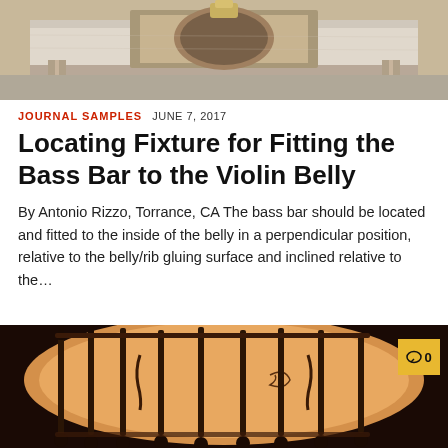[Figure (photo): Top portion of a photo showing a woodworking fixture or jig on a workbench, with metal and wood components visible against a light background.]
JOURNAL SAMPLES  JUNE 7, 2017
Locating Fixture for Fitting the Bass Bar to the Violin Belly
By Antonio Rizzo, Torrance, CA The bass bar should be located and fitted to the inside of the belly in a perpendicular position, relative to the belly/rib gluing surface and inclined relative to the…
[Figure (photo): Bottom portion showing the interior of a violin belly with bass bar clamps visible, warm amber wood tones, with a comment badge showing 0 comments in the top-right corner.]